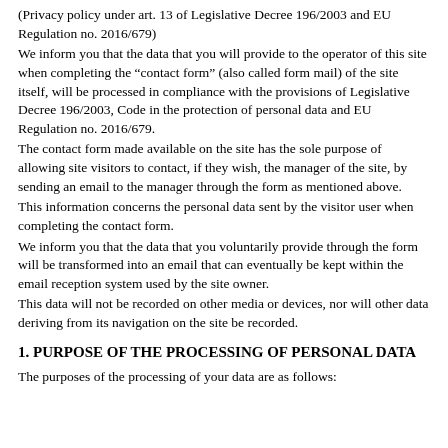(Privacy policy under art. 13 of Legislative Decree 196/2003 and EU Regulation no. 2016/679)
We inform you that the data that you will provide to the operator of this site when completing the “contact form” (also called form mail) of the site itself, will be processed in compliance with the provisions of Legislative Decree 196/2003, Code in the protection of personal data and EU Regulation no. 2016/679.
The contact form made available on the site has the sole purpose of allowing site visitors to contact, if they wish, the manager of the site, by sending an email to the manager through the form as mentioned above.
This information concerns the personal data sent by the visitor user when completing the contact form.
We inform you that the data that you voluntarily provide through the form will be transformed into an email that can eventually be kept within the email reception system used by the site owner.
This data will not be recorded on other media or devices, nor will other data deriving from its navigation on the site be recorded.
1. PURPOSE OF THE PROCESSING OF PERSONAL DATA
The purposes of the processing of your data are as follows: